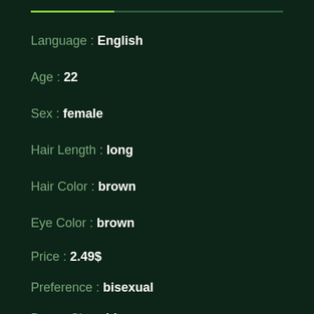Language : English
Age : 22
Sex : female
Hair Length : long
Hair Color : brown
Eye Color : brown
Price : 2.49$
Preference : bisexual
Breast Size : big
Build : skinny